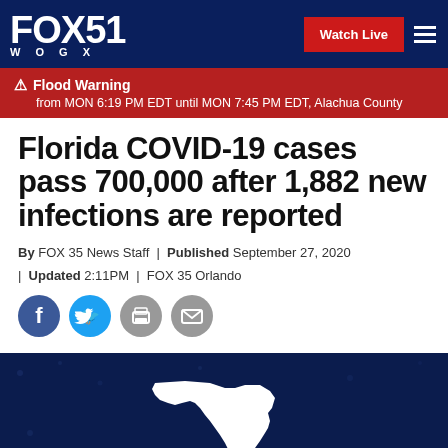FOX 51 WOGX | Watch Live
⚠ Flood Warning from MON 6:19 PM EDT until MON 7:45 PM EDT, Alachua County
Florida COVID-19 cases pass 700,000 after 1,882 new infections are reported
By FOX 35 News Staff | Published September 27, 2020 | Updated 2:11PM | FOX 35 Orlando
[Figure (illustration): Social media share icons: Facebook, Twitter, Print, Email]
[Figure (photo): Dark blue background with white silhouette map of Florida state]